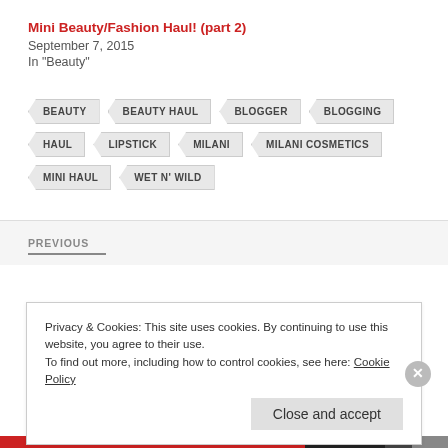Mini Beauty/Fashion Haul! (part 2)
September 7, 2015
In "Beauty"
BEAUTY
BEAUTY HAUL
BLOGGER
BLOGGING
HAUL
LIPSTICK
MILANI
MILANI COSMETICS
MINI HAUL
WET N' WILD
PREVIOUS
Privacy & Cookies: This site uses cookies. By continuing to use this website, you agree to their use. To find out more, including how to control cookies, see here: Cookie Policy
Close and accept